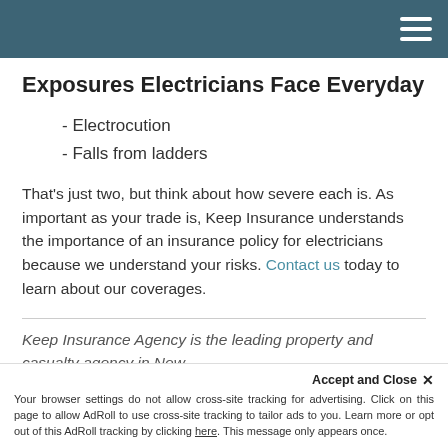Exposures Electricians Face Everyday
- Electrocution
- Falls from ladders
That's just two, but think about how severe each is. As important as your trade is, Keep Insurance understands the importance of an insurance policy for electricians because we understand your risks. Contact us today to learn about our coverages.
Keep Insurance Agency is the leading property and casualty agency in New
Accept and Close ✕
Your browser settings do not allow cross-site tracking for advertising. Click on this page to allow AdRoll to use cross-site tracking to tailor ads to you. Learn more or opt out of this AdRoll tracking by clicking here. This message only appears once.